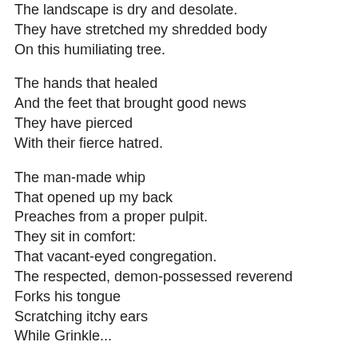The landscape is dry and desolate.
They have stretched my shredded body
On this humiliating tree.

The hands that healed
And the feet that brought good news
They have pierced
With their fierce hatred.

The man-made whip
That opened up my back
Preaches from a proper pulpit.
They sit in comfort:
That vacant-eyed congregation.
The respected, demon-possessed reverend
Forks his tongue
Scratching itchy ears
While Grinkle...